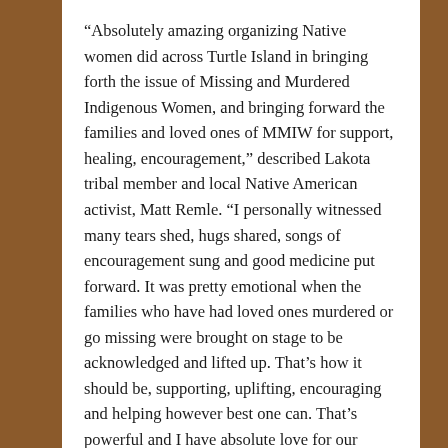“Absolutely amazing organizing Native women did across Turtle Island in bringing forth the issue of Missing and Murdered Indigenous Women, and bringing forward the families and loved ones of MMIW for support, healing, encouragement,” described Lakota tribal member and local Native American activist, Matt Remle. “I personally witnessed many tears shed, hugs shared, songs of encouragement sung and good medicine put forward. It was pretty emotional when the families who have had loved ones murdered or go missing were brought on stage to be acknowledged and lifted up. That’s how it should be, supporting, uplifting, encouraging and helping however best one can. That’s powerful and I have absolute love for our [women] across Turtle Island for doing this.”
Across the nation, hundreds of thousands of people gathered in city streets to peacefully demonstrate the power of women and showcase a desire for change. The issues, from reproductive rights to better representation of women of color to awareness for missing and murdered